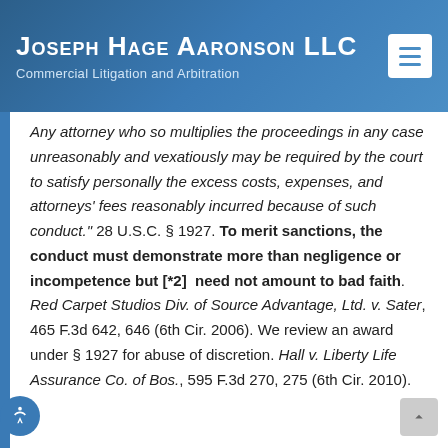Joseph Hage Aaronson LLC — Commercial Litigation and Arbitration
Any attorney who so multiplies the proceedings in any case unreasonably and vexatiously may be required by the court to satisfy personally the excess costs, expenses, and attorneys' fees reasonably incurred because of such conduct." 28 U.S.C. § 1927. To merit sanctions, the conduct must demonstrate more than negligence or incompetence but [*2] need not amount to bad faith. Red Carpet Studios Div. of Source Advantage, Ltd. v. Sater, 465 F.3d 642, 646 (6th Cir. 2006). We review an award under § 1927 for abuse of discretion. Hall v. Liberty Life Assurance Co. of Bos., 595 F.3d 270, 275 (6th Cir. 2010).